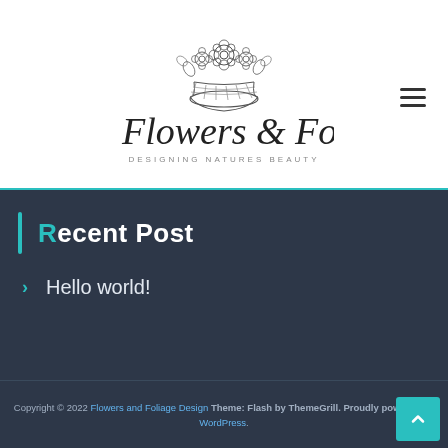[Figure (logo): Flowers and Foliage logo with floral basket illustration and script text reading 'Flowers & Foliage' with subtitle 'DESIGNING NATURES BEAUTY']
Recent Post
Hello world!
Copyright © 2022 Flowers and Foliage Design Theme: Flash by ThemeGrill. Proudly powered by WordPress.